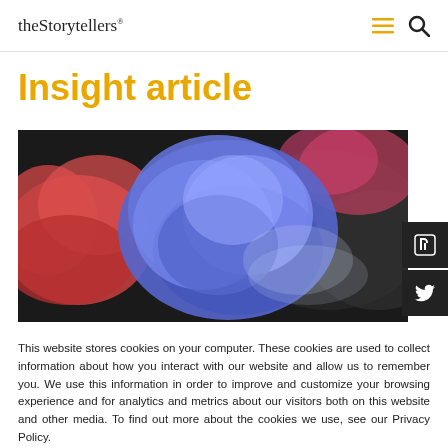theStorytellers® ☰ 🔍
Insight article
[Figure (photo): Colourful ink clouds — blue, pink, and red — dispersing in water against a dark background.]
This website stores cookies on your computer. These cookies are used to collect information about how you interact with our website and allow us to remember you. We use this information in order to improve and customize your browsing experience and for analytics and metrics about our visitors both on this website and other media. To find out more about the cookies we use, see our Privacy Policy.
Accept | Don't ask me again